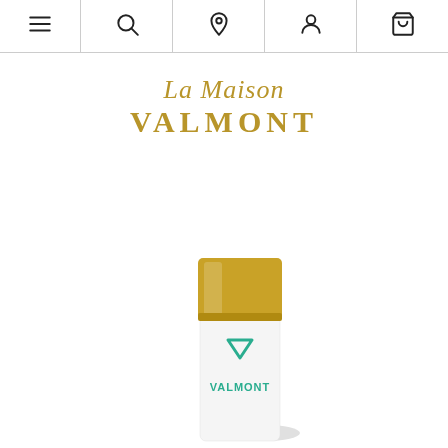[Figure (screenshot): Website navigation bar with hamburger menu, search, location pin, user profile, and shopping bag icons]
[Figure (logo): La Maison Valmont logo in gold — italic script 'La Maison' above bold serif 'VALMONT']
[Figure (photo): Valmont skincare product bottle with gold cap and white body showing teal Valmont logo, partially cropped at bottom of page]